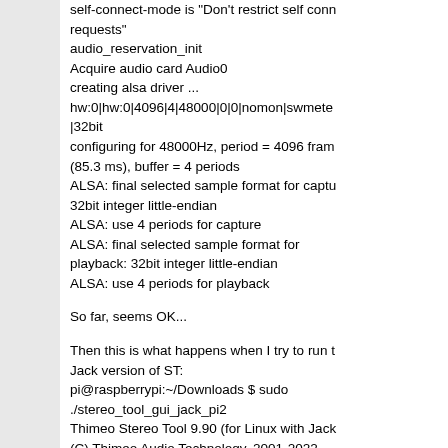self-connect-mode is "Don't restrict self connect requests"
audio_reservation_init
Acquire audio card Audio0
creating alsa driver ...
hw:0|hw:0|4096|4|48000|0|0|nomon|swmete|32bit
configuring for 48000Hz, period = 4096 frames (85.3 ms), buffer = 4 periods
ALSA: final selected sample format for capture: 32bit integer little-endian
ALSA: use 4 periods for capture
ALSA: final selected sample format for playback: 32bit integer little-endian
ALSA: use 4 periods for playback

So far, seems OK...

Then this is what happens when I try to run the Jack version of ST:
pi@raspberrypi:~/Downloads $ sudo ./stereo_tool_gui_jack_pi2
Thimeo Stereo Tool 9.90 (for Linux with Jack)
(C) Thimeo Audio Technology, 2001-2022
jack_client_new: deprecated